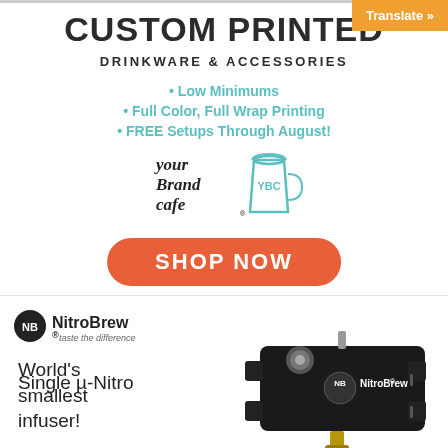Translate »
CUSTOM PRINTED
DRINKWARE & ACCESSORIES
• Low Minimums
• Full Color, Full Wrap Printing
• FREE Setups Through August!
[Figure (logo): Your Brand Cafe logo with coffee cup illustration showing YBC text]
SHOP NOW
[Figure (logo): NitroBrew logo with tagline 'taste the difference']
Single µ-Nitro
[Figure (photo): Black NitroBrew device - small rectangular box with logo and fittings]
World's smallest infuser!